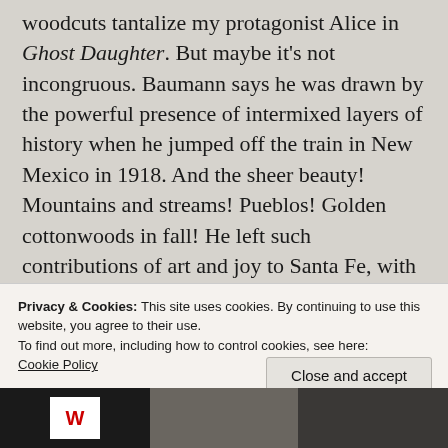woodcuts tantalize my protagonist Alice in Ghost Daughter. But maybe it's not incongruous. Baumann says he was drawn by the powerful presence of intermixed layers of history when he jumped off the train in New Mexico in 1918. And the sheer beauty! Mountains and streams! Pueblos! Golden cottonwoods in fall! He left such contributions of art and joy to Santa Fe, with his spectacular prints and the beloved marionette shows in his living room. https://www.youtube.com/watch?
Privacy & Cookies: This site uses cookies. By continuing to use this website, you agree to their use.
To find out more, including how to control cookies, see here: Cookie Policy
Close and accept
[Figure (photo): Bottom strip with three images: left shows a dark image with a white W logo on red, center and right show black and white photographs of people]